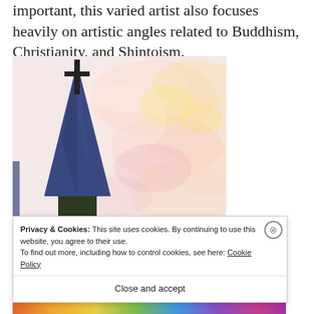important, this varied artist also focuses heavily on artistic angles related to Buddhism, Christianity, and Shintoism.
[Figure (illustration): Painting of a dark blue church steeple with a cross on top, against a pastel pink, yellow, and white cloudy sky background. The base of the steeple shows green foliage.]
Privacy & Cookies: This site uses cookies. By continuing to use this website, you agree to their use.
To find out more, including how to control cookies, see here: Cookie Policy
Close and accept